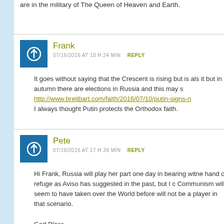are in the military of The Queen of Heaven and Earth.
Frank
07/16/2016 AT 10 H 24 MIN   REPLY
It goes without saying that the Crescent is rising but is also it but in autumn there are elections in Russia and this may s http://www.breitbart.com/faith/2016/07/10/putin-signs-n I always thought Putin protects the Orthodox faith.
Pete
07/16/2016 AT 17 H 39 MIN   REPLY
Hi Frank, Russia will play her part one day in bearing witne hand of refuge as Aviso has suggested in the past, but I c Communism will seem to have taken over the World before will not be a player in that scenario.

God Bless